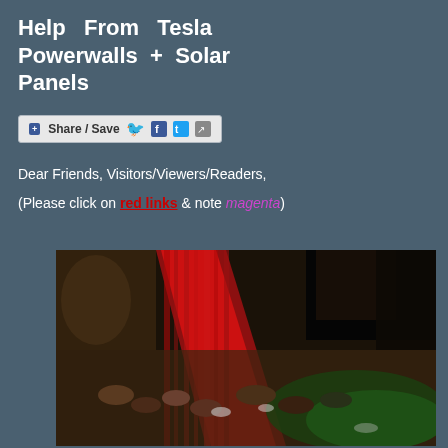Help From Tesla Powerwalls + Solar Panels
[Figure (other): Share/Save social media button bar with Facebook, Twitter, and export icons]
Dear Friends, Visitors/Viewers/Readers,
(Please click on red links & note magenta)
[Figure (photo): Blurry low-light photograph showing a crowd or gathering scene with red, green, brown and dark tones, appears to be an aerial or elevated view of people.]